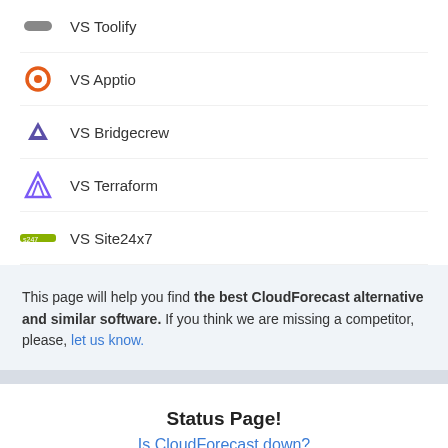VS Toolify
VS Apptio
VS Bridgecrew
VS Terraform
VS Site24x7
This page will help you find the best CloudForecast alternative and similar software. If you think we are missing a competitor, please, let us know.
Status Page!
Is CloudForecast down?
Featured